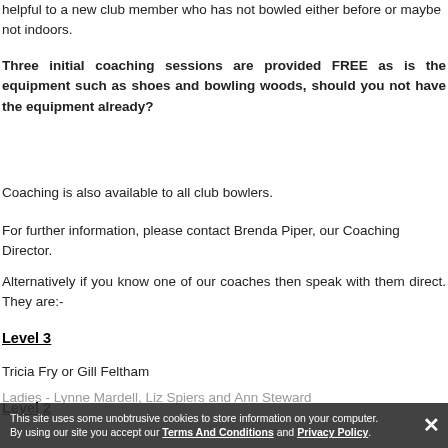helpful to a new club member who has not bowled either before or maybe not indoors.
Three initial coaching sessions are provided FREE as is the equipment such as shoes and bowling woods, should you not have the equipment already?
Coaching is also available to all club bowlers.
For further information, please contact Brenda Piper, our Coaching Director.
Alternatively if you know one of our coaches then speak with them direct. They are:-
Level 3
Tricia Fry or Gill Feltham
Level 2
Ladies - Lynne Mardell, Liz Spiers and Ann Steward
This site uses some unobtrusive cookies to store information on your computer. By using our site you accept our Terms And Conditions and Privacy Policy.